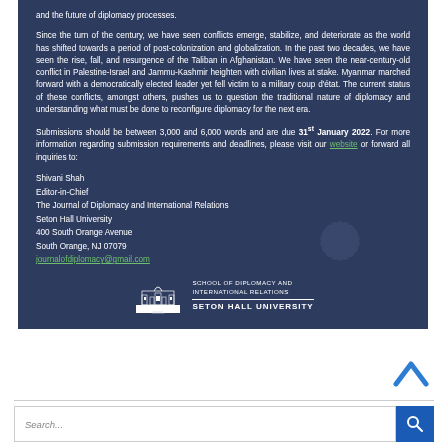and the future of diplomacy processes.
Since the turn of the century, we have seen conflicts emerge, stabilize, and deteriorate as the world has shifted towards a period of post-colonization and globalization. In the past two decades, we have seen the rise, fall, and resurgence of the Taliban in Afghanistan. We have seen the near-century-old conflict in Palestine-Israel and Jammu-Kashmir heighten with civilian lives at stake. Myanmar marched forward with a democratically elected leader yet fell victim to a military coup d'état. The current status of these conflicts, amongst others, pushes us to question the traditional nature of diplomacy and understanding what must be done to reconfigure diplomacy for the next era.
Submissions should be between 3,000 and 6,000 words and are due 31st January 2022. For more information regarding submission requirements and deadlines, please visit our website or forward all inquiries to:
Shivani Shah
Editor-in-Chief
The Journal of Diplomacy and International Relations
Seton Hall University
400 South Orange Avenue
South Orange, NJ 07079
journalofdiplomacy@gmail.com
[Figure (logo): School of Diplomacy and International Relations, Seton Hall University logo with building illustration]